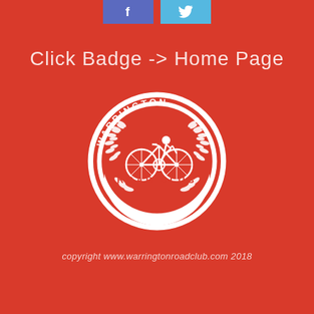[Figure (logo): Social media icons: Facebook (purple/blue) and Twitter (light blue) buttons at top]
Click Badge -> Home Page
[Figure (logo): Warrington Road Club circular badge/logo — red circle with white border, cyclist on bicycle in center, laurel wreaths on sides, text 'WARRINGTON ROAD CLUB' around the ring]
copyright www.warringtonroadclub.com 2018